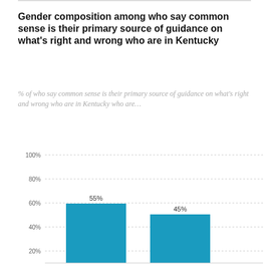Gender composition among who say common sense is their primary source of guidance on what's right and wrong who are in Kentucky
% of who say common sense is their primary source of guidance on what's right and wrong who are in Kentucky who are...
[Figure (bar-chart): Gender composition among who say common sense is their primary source of guidance on what's right and wrong who are in Kentucky]